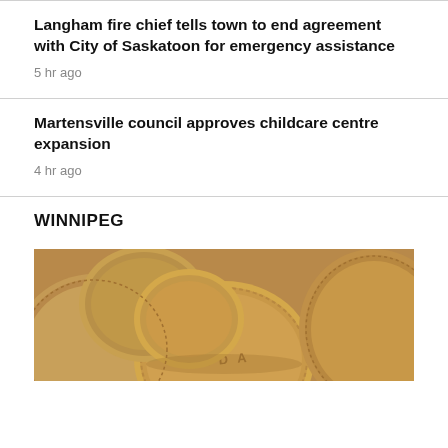Langham fire chief tells town to end agreement with City of Saskatoon for emergency assistance
5 hr ago
Martensville council approves childcare centre expansion
4 hr ago
WINNIPEG
[Figure (photo): Close-up photograph of several Canadian coins (loonies) piled together, showing the golden-brown metallic surface and 'CANADA' text visible on one coin]